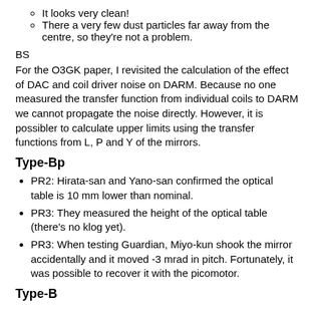It looks very clean!
There a very few dust particles far away from the centre, so they're not a problem.
BS
For the O3GK paper, I revisited the calculation of the effect of DAC and coil driver noise on DARM. Because no one measured the transfer function from individual coils to DARM we cannot propagate the noise directly. However, it is possibler to calculate upper limits using the transfer functions from L, P and Y of the mirrors.
Type-Bp
PR2: Hirata-san and Yano-san confirmed the optical table is 10 mm lower than nominal.
PR3: They measured the height of the optical table (there's no klog yet).
PR3: When testing Guardian, Miyo-kun shook the mirror accidentally and it moved -3 mrad in pitch. Fortunately, it was possible to recover it with the picomotor.
Type-B